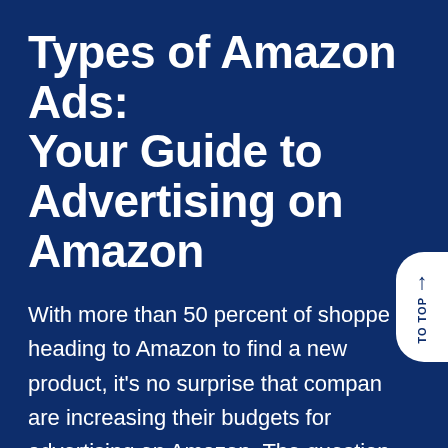Types of Amazon Ads: Your Guide to Advertising on Amazon
With more than 50 percent of shoppers heading to Amazon to find a new product, it's no surprise that companies are increasing their budgets for advertising on Amazon. The question is, what types of Amazon ads should your business use to maximize sales